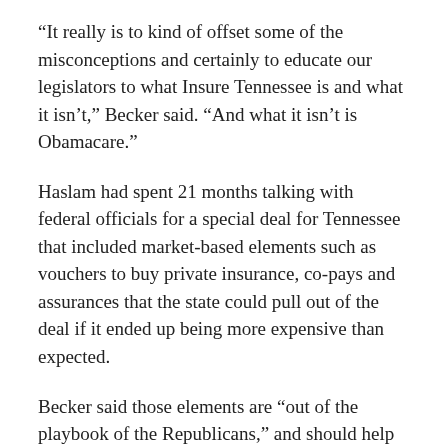“It really is to kind of offset some of the misconceptions and certainly to educate our legislators to what Insure Tennessee is and what it isn’t,” Becker said. “And what it isn’t is Obamacare.”
Haslam had spent 21 months talking with federal officials for a special deal for Tennessee that included market-based elements such as vouchers to buy private insurance, co-pays and assurances that the state could pull out of the deal if it ended up being more expensive than expected.
Becker said those elements are “out of the playbook of the Republicans,” and should help allay political fears among lawmakers. But supporters realize that legislative leaders don’t want another fight over the issue this year.
“You could bang your head against the wall and try to get it passed this year, when you know leadership is not